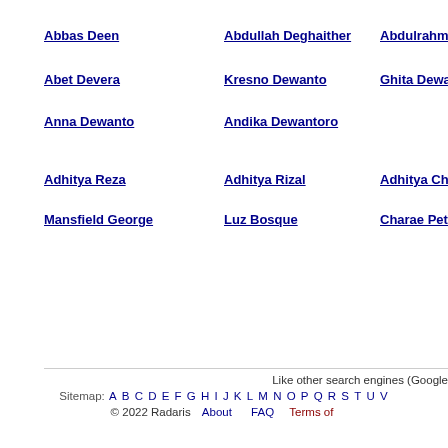Abbas Deen
Abdullah Deghaither
Abdulrahman
Abet Devera
Kresno Dewanto
Ghita Dewanto
Anna Dewanto
Andika Dewantoro
Adhitya Reza
Adhitya Rizal
Adhitya Chittu
Mansfield George
Luz Bosque
Charae Peters
Like other search engines (Google Sitemap: A B C D E F G H I J K L M N O P Q R S T U V © 2022 Radaris   About   FAQ   Terms of